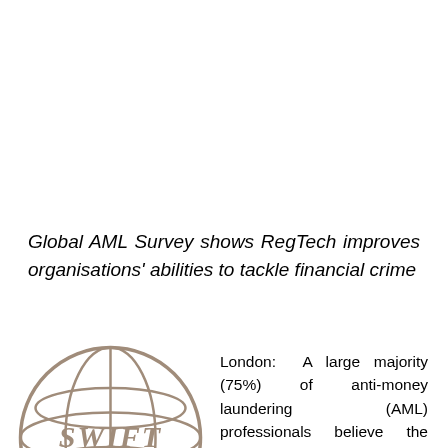Global AML Survey shows RegTech improves organisations' abilities to tackle financial crime
[Figure (logo): SWIFT globe logo — a globe with latitude/longitude grid lines and the word SWIFT in italic serif font across the center band]
London: A large majority (75%) of anti-money laundering (AML) professionals believe the current geopolitical landscape presents new